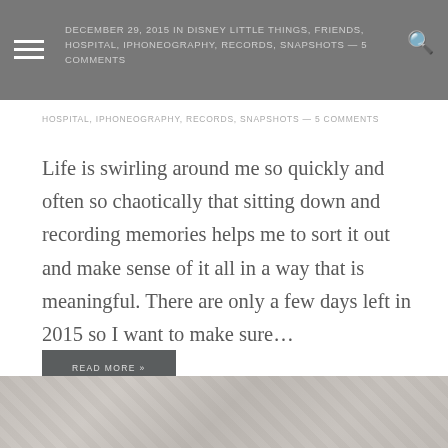DECEMBER 29, 2015 IN DISNEY LITTLE THINGS, FRIENDS, HOSPITAL, IPHONEOGRAPHY, RECORDS, SNAPSHOTS — 5 COMMENTS
Life is swirling around me so quickly and often so chaotically that sitting down and recording memories helps me to sort it out and make sense of it all in a way that is meaningful. There are only a few days left in 2015 so I want to make sure…
READ MORE »
[Figure (photo): Bottom partial image showing a woven/basketweave textured light grey surface with soft organic material visible]